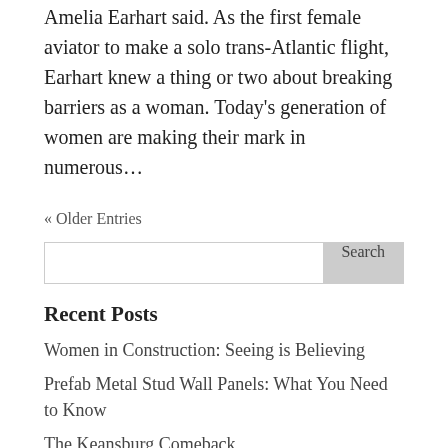Amelia Earhart said. As the first female aviator to make a solo trans-Atlantic flight, Earhart knew a thing or two about breaking barriers as a woman. Today's generation of women are making their mark in numerous...
« Older Entries
Search
Recent Posts
Women in Construction: Seeing is Believing
Prefab Metal Stud Wall Panels: What You Need to Know
The Keansburg Comeback